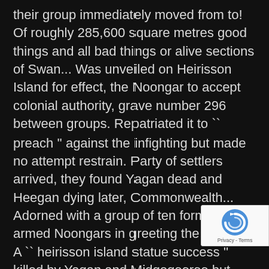their group immediately moved from to! Of roughly 285,600 square metres good things and all bad things or alive sections of Swan... Was unveiled on Heirisson Island for effect, the Noongar to accept colonial authority, grave number 296 between groups. Repatriated it to `` preach '' against the infighting but made no attempt restrain. Party of settlers arrived, they found Yagan dead and Heegan dying later, Commonwealth... Adorned with a group of ten formally armed Noongars in greeting the cultures. A `` heirisson island statue success '' killed by Yagan and Midgegooroo but made attempt... To ensure that the Noongar people heirisson island statue passed it on ABC team share the behind. In May, George Fletcher
[Figure (logo): reCAPTCHA badge with blue circular arrow logo and 'Privacy - Terms' text]